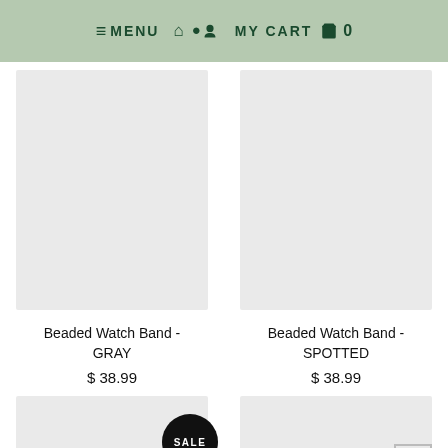≡ MENU  🏠 👤  MY CART 🛒 0
[Figure (photo): Product image placeholder for Beaded Watch Band - GRAY (light gray empty box)]
Beaded Watch Band - GRAY
$ 38.99
[Figure (photo): Product image placeholder for Beaded Watch Band - SPOTTED (light gray empty box)]
Beaded Watch Band - SPOTTED
$ 38.99
[Figure (photo): Product image placeholder (bottom left) with SALE badge circle]
[Figure (photo): Product image placeholder (bottom right) with back-to-top arrow]